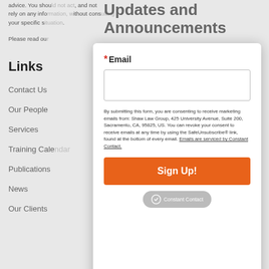advice. You should not act, and not rely on any information, without consulting your specific situation.
Please read our
Updates and Announcements
Links
Contact Us
Our People
Services
Training Calendar
Publications
News
Our Clients
* Email
By submitting this form, you are consenting to receive marketing emails from: Shaw Law Group, 425 University Avenue, Suite 200, Sacramento, CA, 95825, US. You can revoke your consent to receive emails at any time by using the SafeUnsubscribe® link, found at the bottom of every email. Emails are serviced by Constant Contact.
Sign Up!
Constant Contact